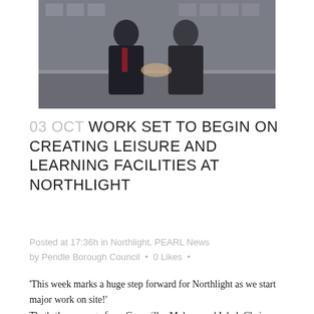[Figure (photo): Two men in formal attire shaking hands outdoors in front of a stone building]
03 OCT WORK SET TO BEGIN ON CREATING LEISURE AND LEARNING FACILITIES AT NORTHLIGHT
Posted at 17:36h in Northlight, PEARL News by Pendle Borough Council · 0 Likes ·
'This week marks a huge step forward for Northlight as we start major work on site!'
That's the message from Councillor Mohammed Iqbal, Chairman of PEARL and Leader of Pendle